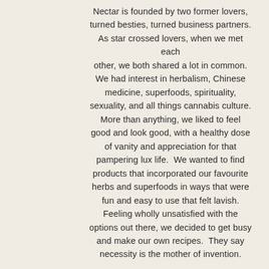Nectar is founded by two former lovers, turned besties, turned business partners. As star crossed lovers, when we met each other, we both shared a lot in common. We had interest in herbalism, Chinese medicine, superfoods, spirituality, sexuality, and all things cannabis culture. More than anything, we liked to feel good and look good, with a healthy dose of vanity and appreciation for that pampering lux life.  We wanted to find products that incorporated our favourite herbs and superfoods in ways that were fun and easy to use that felt lavish. Feeling wholly unsatisfied with the options out there, we decided to get busy and make our own recipes.  They say necessity is the mother of invention.

What started as playing with potions in the kitchen soon turned into an obsession. It took us a few memorable years of strenuous R and D and many long, hard nights in the test kitchen to bring...